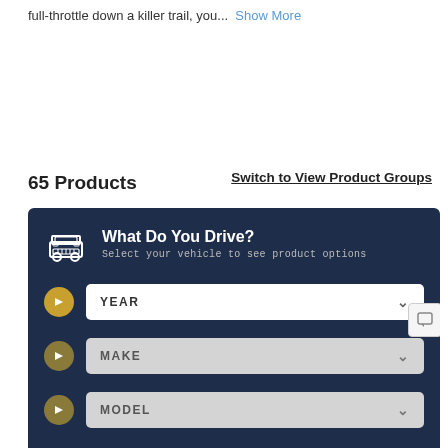full-throttle down a killer trail, you...  Show More
65 Products
Switch to View Product Groups
[Figure (screenshot): Vehicle selector widget with dark navy background. Contains a Jeep icon and heading 'What Do You Drive?' with subtitle 'Select your vehicle to see product options'. Three dropdown fields labeled YEAR, MAKE, and MODEL, each with a gold arrow circle on the left and a chevron on the right.]